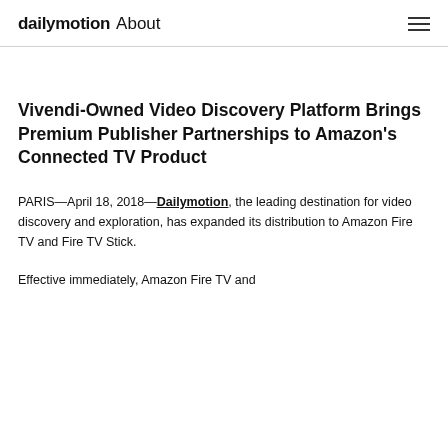dailymotion About
Vivendi-Owned Video Discovery Platform Brings Premium Publisher Partnerships to Amazon's Connected TV Product
PARIS—April 18, 2018—Dailymotion, the leading destination for video discovery and exploration, has expanded its distribution to Amazon Fire TV and Fire TV Stick.
Effective immediately, Amazon Fire TV and